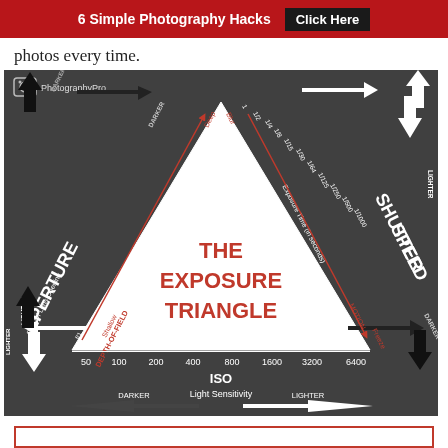6 Simple Photography Hacks  Click Here
photos every time.
[Figure (infographic): The Exposure Triangle infographic showing the relationship between Aperture (Size of Lens Opening, f/1 to f/22, Depth-of-Field from Shallow to Deep), Shutter Speed (Exposure Time in seconds, 1 to 1/1000, Motion from Blur to Freeze), and ISO (Light Sensitivity, 50 to 6400, Noise from Low to High), with arrows indicating Lighter/Darker directions for each. A white triangle in the center shows the interplay. PhotographyPro logo in top left.]
[Figure (other): Bottom cropped section showing a red-bordered box, partially visible]